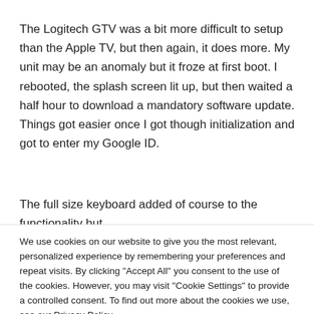The Logitech GTV was a bit more difficult to setup than the Apple TV, but then again, it does more. My unit may be an anomaly but it froze at first boot. I rebooted, the splash screen lit up, but then waited a half hour to download a mandatory software update. Things got easier once I got though initialization and got to enter my Google ID.
The full size keyboard added of course to the functionality but
We use cookies on our website to give you the most relevant, personalized experience by remembering your preferences and repeat visits. By clicking "Accept All" you consent to the use of the cookies. However, you may visit "Cookie Settings" to provide a controlled consent. To find out more about the cookies we use, see our Privacy Policy.
Cookie Settings | Accept All